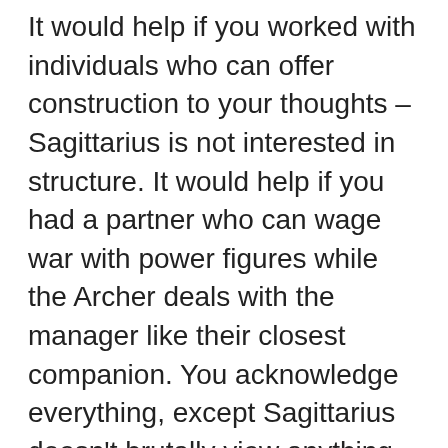It would help if you worked with individuals who can offer construction to your thoughts – Sagittarius is not interested in structure. It would help if you had a partner who can wage war with power figures while the Archer deals with the manager like their closest companion. You acknowledge everything, except Sagittarius doesn't brutally view anything. Will this association work? All things considered, yes. Neither one of you is enthusiastic about accepting accountability and should alternate doing the hard work. On the off chance that you can deal with this, your association will succeed. You two are very audacious so that you could run a fruitful travel service. Also, you're both enormous perusers and